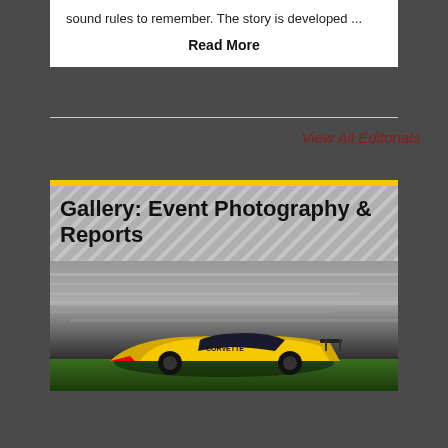sound rules to remember. The story is developed ...
Read More
View All Editorials
Gallery: Event Photography & Reports
[Figure (photo): Racing car in motion at night, blurred motion effect, yellow Corvette-style race car on track with green grass border visible]